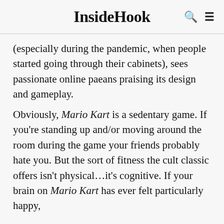InsideHook
(especially during the pandemic, when people started going through their cabinets), sees passionate online paeans praising its design and gameplay.
Obviously, Mario Kart is a sedentary game. If you're standing up and/or moving around the room during the game your friends probably hate you. But the sort of fitness the cult classic offers isn't physical…it's cognitive. If your brain on Mario Kart has ever felt particularly happy,